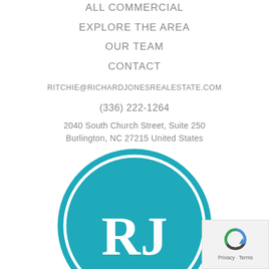ALL COMMERCIAL
EXPLORE THE AREA
OUR TEAM
CONTACT
RITCHIE@RICHARDJONESREALESTATE.COM
(336) 222-1264
2040 South Church Street, Suite 250
Burlington, NC 27215 United States
[Figure (logo): Richard Jones Real Estate circular teal logo with white 'RJ' initials and white border ring]